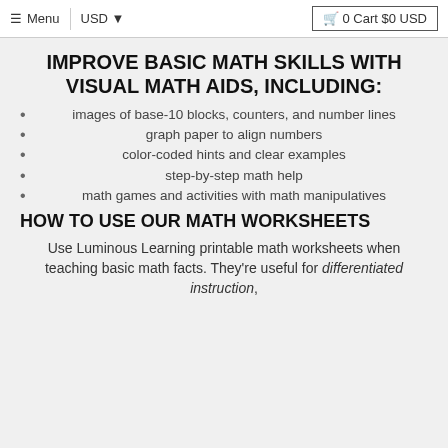≡ Menu  |  USD ▼  🛒 0 Cart $0 USD
IMPROVE BASIC MATH SKILLS WITH VISUAL MATH AIDS, INCLUDING:
images of base-10 blocks, counters, and number lines
graph paper to align numbers
color-coded hints and clear examples
step-by-step math help
math games and activities with math manipulatives
HOW TO USE OUR MATH WORKSHEETS
Use Luminous Learning printable math worksheets when teaching basic math facts. They're useful for differentiated instruction,